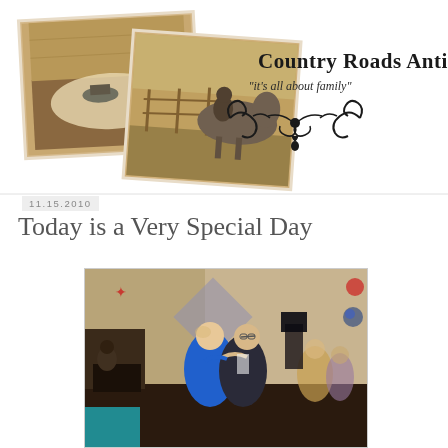[Figure (illustration): Country Roads Antiques blog header with two overlapping sepia-toned vintage photographs on the left and branding text on the right. Text reads: Country Roads Antiques, 'it's all about family', with decorative scroll ornament below.]
11.15.2010
Today is a Very Special Day
[Figure (photo): Indoor party/dance scene with two people dancing in foreground (woman in blue jacket, man in dark suit with glasses), DJ or musician at table in background left, star/diamond decorations on wall, other guests visible in background.]